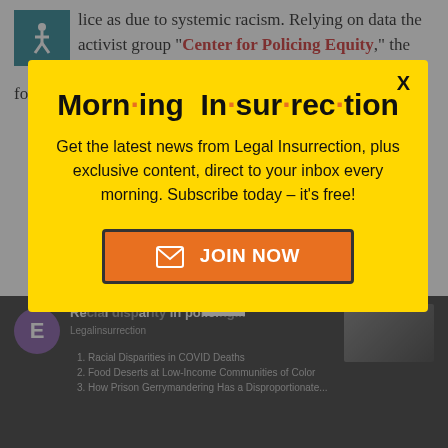lice as due to systemic racism. Relying on data the activist group “Center for Policing Equity,” the curriculum author disingenuously conflates use of force disparities with disparities in
[Figure (screenshot): Yellow popup modal overlay for Morning Insurrection newsletter from Legal Insurrection website. Contains title 'Morn·ing In·sur·rec·tion' in bold black with orange dots, subscription text, and orange JOIN NOW button. Background shows partially obscured article text about policing and a dark bottom bar with social/video content.]
Morn·ing In·sur·rec·tion
Get the latest news from Legal Insurrection, plus exclusive content, direct to your inbox every morning. Subscribe today – it's free!
JOIN NOW
Back to Top
Racial Disparities in COVID Deaths
Food Deserts at Low-Income Communities of Color
How Prison Gerrymandering Has a Disproportionate...